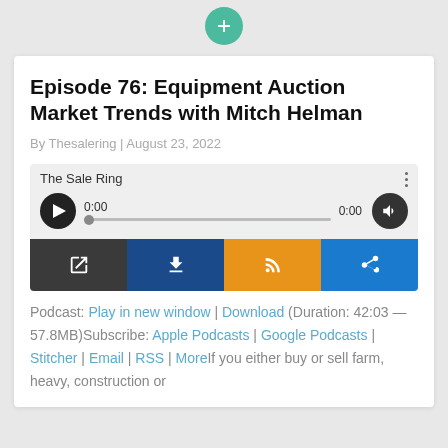[Figure (other): Green circular plus button at top center of page]
Episode 76: Equipment Auction Market Trends with Mitch Helman
By Thesalering | August 23, 2022
[Figure (other): Audio player widget showing The Sale Ring podcast, 0:00 timestamp, play button, progress bar, volume button, and four action buttons: open in new window (dark), download (navy), RSS (orange), share (blue)]
Podcast: Play in new window | Download (Duration: 42:03 — 57.8MB)Subscribe: Apple Podcasts | Google Podcasts | Stitcher | Email | RSS | MoreIf you either buy or sell farm, heavy, construction or